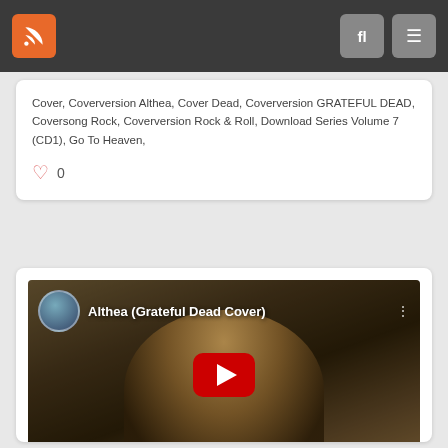Navigation bar with RSS icon, search, and menu buttons
Cover, Coverversion Althea, Cover Dead, Coverversion GRATEFUL DEAD, Coversong Rock, Coverversion Rock & Roll, Download Series Volume 7 (CD1), Go To Heaven,
0
[Figure (screenshot): YouTube video thumbnail showing a man playing acoustic guitar with the title 'Althea (Grateful Dead Cover)']
Althea (Grateful Dead Cover)